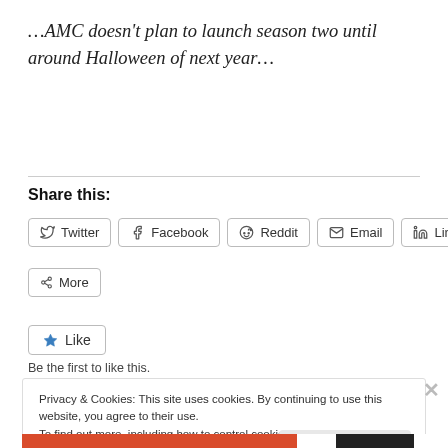…AMC doesn't plan to launch season two until around Halloween of next year…
Share this:
Twitter Facebook Reddit Email LinkedIn More
Like
Be the first to like this.
Privacy & Cookies: This site uses cookies. By continuing to use this website, you agree to their use.
To find out more, including how to control cookies, see here: Cookie Policy
Close and accept